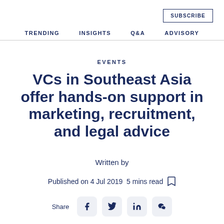SUBSCRIBE
TRENDING   INSIGHTS   Q&A   ADVISORY
EVENTS
VCs in Southeast Asia offer hands-on support in marketing, recruitment, and legal advice
Written by
Published on 4 Jul 2019  5 mins read
Share